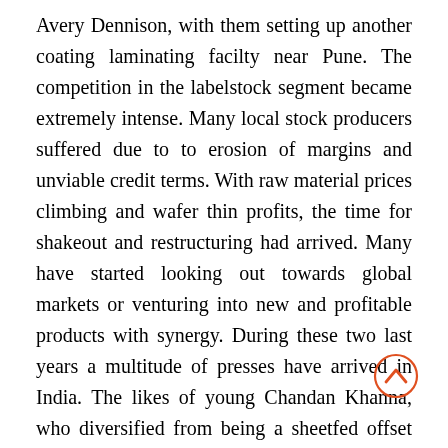Avery Dennison, with them setting up another coating laminating facilty near Pune. The competition in the labelstock segment became extremely intense. Many local stock producers suffered due to to erosion of margins and unviable credit terms. With raw material prices climbing and wafer thin profits, the time for shakeout and restructuring had arrived. Many have started looking out towards global markets or venturing into new and profitable products with synergy. During these two last years a multitude of presses have arrived in India. The likes of young Chandan Khanna, who diversified from being a sheetfed offset printer to a narrow web label printer has surprised many. In just a few years from his first one waterless offset Iwasaki press, it became three presses and then at the Labelexpo 2006 he surprised all by announcing that he had bought a
[Figure (other): Orange circle with upward chevron/caret arrow annotation overlaid on text near 'became' and 'he']